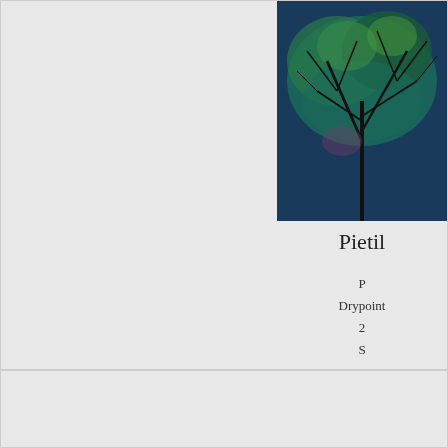[Figure (photo): Dark painting of tree branches with green and teal foliage on a deep blue background]
Pietilä

P
Drypoint
2
S
[Figure (photo): Landscape painting of a wetland or marsh at dusk with tall grasses, snow patches, and a colorful sky with trees in the background]